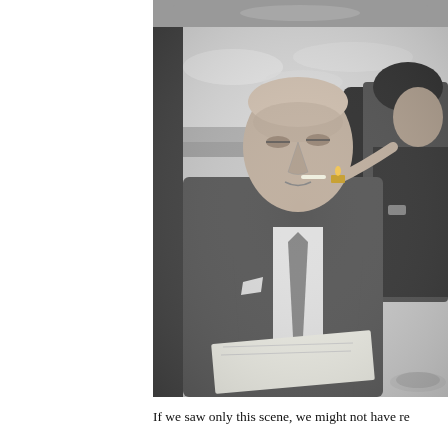[Figure (photo): Black and white photograph showing two men seated, one lighting a cigarette for the other. The man being lit is wearing a suit and tie and holding papers. A window with a landscape view is visible in the background along with an ashtray in the foreground right.]
If we saw only this scene, we might not have re